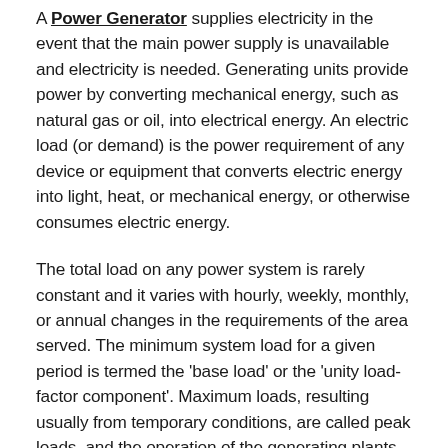A Power Generator supplies electricity in the event that the main power supply is unavailable and electricity is needed. Generating units provide power by converting mechanical energy, such as natural gas or oil, into electrical energy. An electric load (or demand) is the power requirement of any device or equipment that converts electric energy into light, heat, or mechanical energy, or otherwise consumes electric energy.
The total load on any power system is rarely constant and it varies with hourly, weekly, monthly, or annual changes in the requirements of the area served. The minimum system load for a given period is termed the 'base load' or the 'unity load-factor component'. Maximum loads, resulting usually from temporary conditions, are called peak loads, and the operation of the generating plants must be closely coordinated with fluctuations in the load.